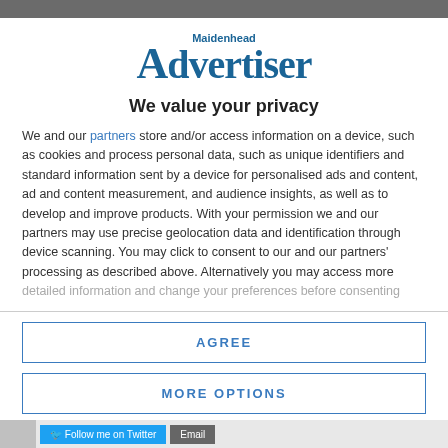[Figure (logo): Maidenhead Advertiser logo in blue serif font]
We value your privacy
We and our partners store and/or access information on a device, such as cookies and process personal data, such as unique identifiers and standard information sent by a device for personalised ads and content, ad and content measurement, and audience insights, as well as to develop and improve products. With your permission we and our partners may use precise geolocation data and identification through device scanning. You may click to consent to our and our partners' processing as described above. Alternatively you may access more detailed information and change your preferences before consenting
AGREE
MORE OPTIONS